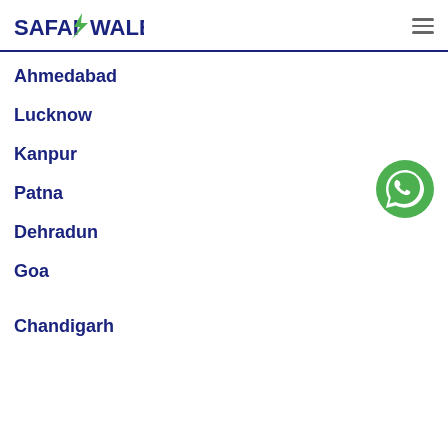SAFAIWALE
Ahmedabad
Lucknow
Kanpur
Patna
Dehradun
Goa
Chandigarh
[Figure (logo): WhatsApp contact button (green circle with phone/chat icon)]